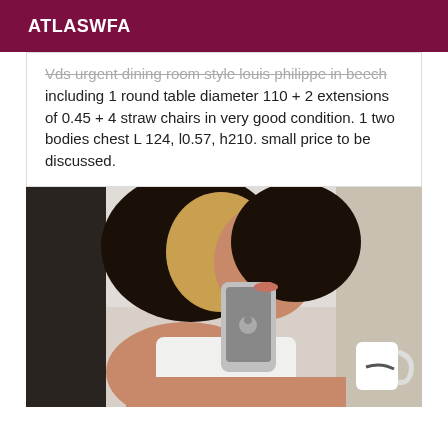ATLASWFA
Vds urgent dining room style louis philippe in beech including 1 round table diameter 110 + 2 extensions of 0.45 + 4 straw chairs in very good condition. 1 two bodies chest L 124, l0.57, h210. small price to be discussed.
[Figure (photo): A woman taking a mirror selfie with a smartphone (iPhone), wearing a white tank top and holding a white cup. She has long dark wavy hair with highlights.]